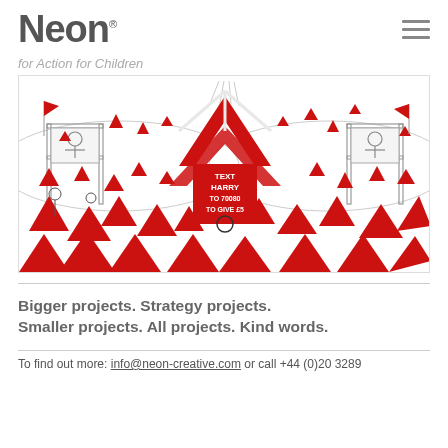Neon®
for Action for Children
[Figure (illustration): Illustration of a festival crowd scene in black and white with red triangular shapes (tent/hat motifs). In the center is a large red arrow/chevron shape containing text: TEXT HARRY TO 70080 TO GIVE £5. Crowd of people visible below with many red triangular shapes throughout.]
Bigger projects. Strategy projects. Smaller projects. All projects. Kind words.
To find out more: info@neon-creative.com or call +44 (0)20 3289